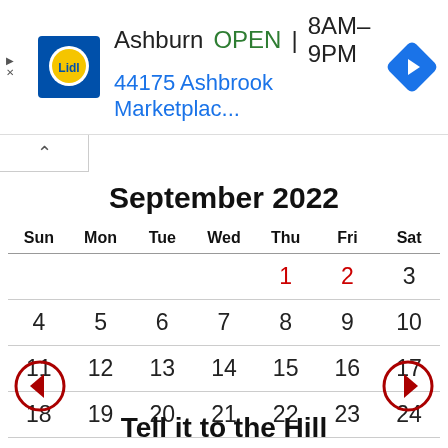[Figure (screenshot): Lidl store ad banner showing Ashburn location, OPEN 8AM-9PM, address 44175 Ashbrook Marketplac..., with Lidl logo and navigation arrow icon]
September 2022
| Sun | Mon | Tue | Wed | Thu | Fri | Sat |
| --- | --- | --- | --- | --- | --- | --- |
|  |  |  |  | 1 | 2 | 3 |
| 4 | 5 | 6 | 7 | 8 | 9 | 10 |
| 11 | 12 | 13 | 14 | 15 | 16 | 17 |
| 18 | 19 | 20 | 21 | 22 | 23 | 24 |
| 25 | 26 | 27 | 28 | 29 | 30 |  |
Tell it to the Hill